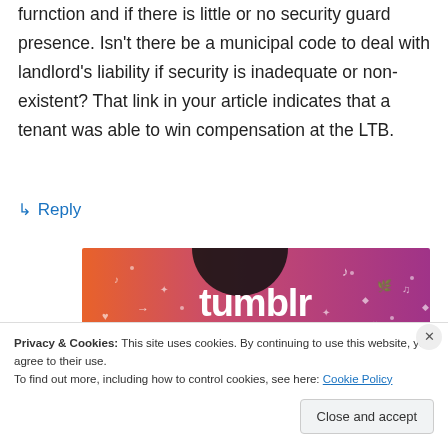furnction and if there is little or no security guard presence. Isn't there be a municipal code to deal with landlord's liability if security is inadequate or non-existent? That link in your article indicates that a tenant was able to win compensation at the LTB.
↳ Reply
[Figure (screenshot): Tumblr banner advertisement with orange-to-purple gradient background and 'tumblr' text in white/black bold font]
Privacy & Cookies: This site uses cookies. By continuing to use this website, you agree to their use.
To find out more, including how to control cookies, see here: Cookie Policy
Close and accept